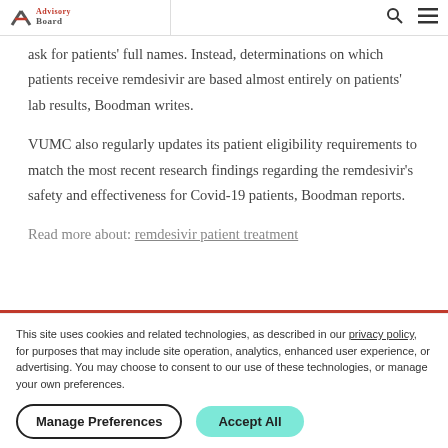Advisory Board
ask for patients' full names. Instead, determinations on which patients receive remdesivir are based almost entirely on patients' lab results, Boodman writes.
VUMC also regularly updates its patient eligibility requirements to match the most recent research findings regarding the remdesivir's safety and effectiveness for Covid-19 patients, Boodman reports.
This site uses cookies and related technologies, as described in our privacy policy, for purposes that may include site operation, analytics, enhanced user experience, or advertising. You may choose to consent to our use of these technologies, or manage your own preferences.